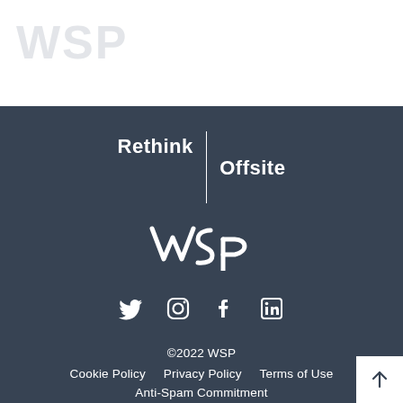[Figure (logo): WSP logo watermark in light gray at top left of white section]
[Figure (logo): Rethink | Offsite branding text with vertical divider line, white on dark blue-gray background]
[Figure (logo): WSP stylized logo mark in white on dark blue-gray background]
[Figure (infographic): Social media icons: Twitter, Instagram, Facebook, LinkedIn in white on dark background]
©2022 WSP
Cookie Policy   Privacy Policy   Terms of Use
Anti-Spam Commitment